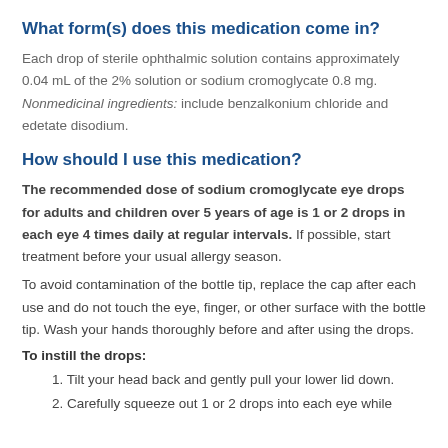What form(s) does this medication come in?
Each drop of sterile ophthalmic solution contains approximately 0.04 mL of the 2% solution or sodium cromoglycate 0.8 mg. Nonmedicinal ingredients: include benzalkonium chloride and edetate disodium.
How should I use this medication?
The recommended dose of sodium cromoglycate eye drops for adults and children over 5 years of age is 1 or 2 drops in each eye 4 times daily at regular intervals. If possible, start treatment before your usual allergy season.
To avoid contamination of the bottle tip, replace the cap after each use and do not touch the eye, finger, or other surface with the bottle tip. Wash your hands thoroughly before and after using the drops.
To instill the drops:
1. Tilt your head back and gently pull your lower lid down.
2. Carefully squeeze out 1 or 2 drops into each eye while...